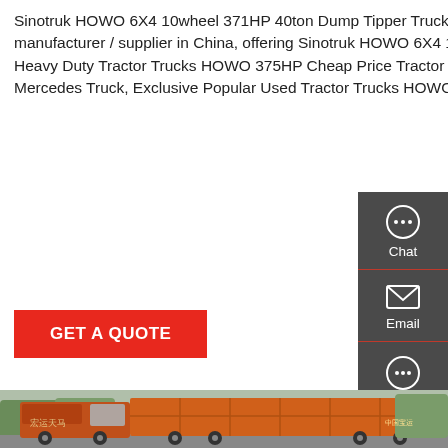Sinotruk HOWO 6X4 10wheel 371HP 40ton Dump Tipper Truck . Dump Truck, Tipper Truck, HOWO Dipper Truck manufacturer / supplier in China, offering Sinotruk HOWO 6X4 10wheel 371HP 40ton Dump Tipper Truck for Sale, Used Heavy Duty Tractor Trucks HOWO 375HP Cheap Price Tractor Truck Head 6X4 Second Hand in Good Condition Mercedes Truck, Exclusive Popular Used Tractor Trucks HOWO A7 420HP Truck
[Figure (other): Red GET A QUOTE button]
[Figure (other): Dark sidebar with Chat, Email, Contact icons]
[Figure (photo): Photo of an orange/red Sinotruk HOWO dump tipper truck parked outdoors with Chinese characters on the side]